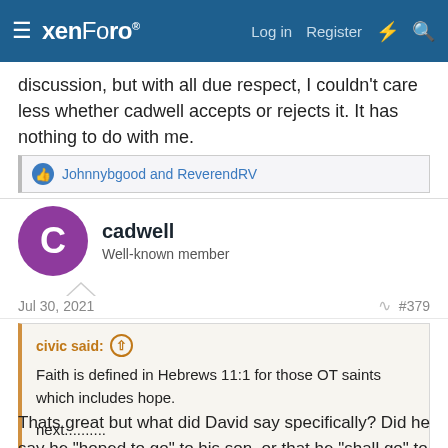xenForo — Log in  Register
discussion, but with all due respect, I couldn't care less whether cadwell accepts or rejects it. It has nothing to do with me.
Johnnybgood and ReverendRV
cadwell
Well-known member
Jul 30, 2021  #379
civic said:
Faith is defined in Hebrews 11:1 for those OT saints which includes hope.

next..........
Thats great but what did David say specifically? Did he say he "hoped to go" to his son, or that he "shall go" to his son?